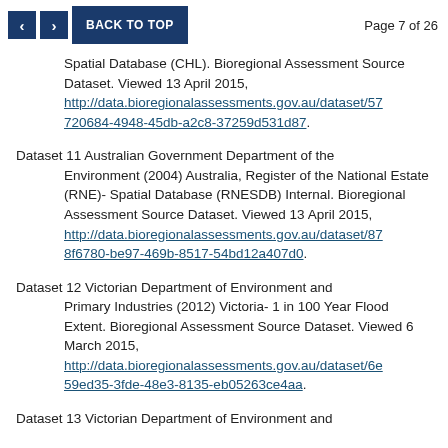Page 7 of 26
Spatial Database (CHL). Bioregional Assessment Source Dataset. Viewed 13 April 2015, http://data.bioregionalassessments.gov.au/dataset/57720684-4948-45db-a2c8-37259d531d87.
Dataset 11 Australian Government Department of the Environment (2004) Australia, Register of the National Estate (RNE)- Spatial Database (RNESDB) Internal. Bioregional Assessment Source Dataset. Viewed 13 April 2015, http://data.bioregionalassessments.gov.au/dataset/878f6780-be97-469b-8517-54bd12a407d0.
Dataset 12 Victorian Department of Environment and Primary Industries (2012) Victoria- 1 in 100 Year Flood Extent. Bioregional Assessment Source Dataset. Viewed 6 March 2015, http://data.bioregionalassessments.gov.au/dataset/6e59ed35-3fde-48e3-8135-eb05263ce4aa.
Dataset 13 Victorian Department of Environment and